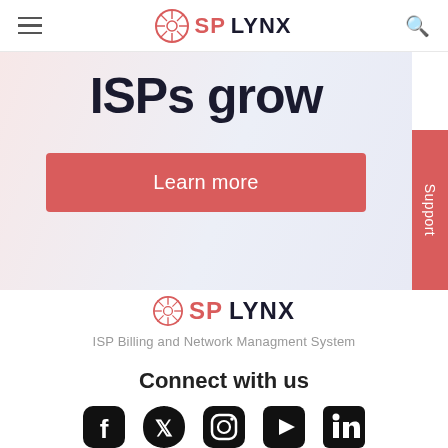SPLYNX navigation bar with hamburger menu, logo, and search icon
ISPs grow
Learn more
[Figure (logo): SPLYNX logo with red circular icon and red/dark wordmark]
ISP Billing and Network Managment System
Connect with us
[Figure (illustration): Social media icons: Facebook, Twitter, Instagram, YouTube, LinkedIn]